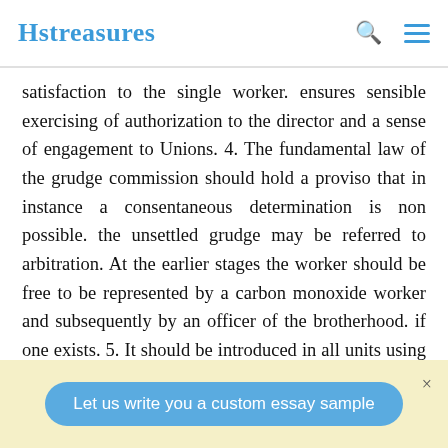Hstreasures
satisfaction to the single worker. ensures sensible exercising of authorization to the director and a sense of engagement to Unions. 4. The fundamental law of the grudge commission should hold a proviso that in instance a consentaneous determination is non possible. the unsettled grudge may be referred to arbitration. At the earlier stages the worker should be free to be represented by a carbon monoxide worker and subsequently by an officer of the brotherhood. if one exists. 5. It should be introduced in all units using 100 or more workers. INDISCIPLINE/MISCONDUCT Discipline is the employee ego control which prompts him to willingly co- operates
Let us write you a custom essay sample